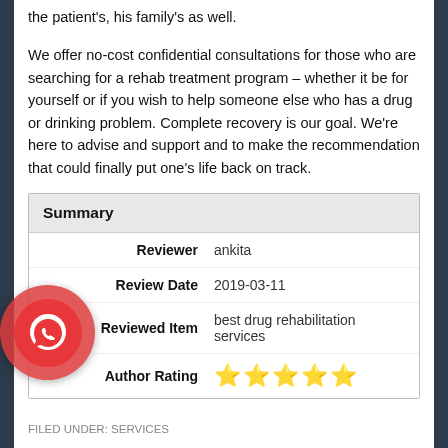the patient's, his family's as well.
We offer no-cost confidential consultations for those who are searching for a rehab treatment program – whether it be for yourself or if you wish to help someone else who has a drug or drinking problem. Complete recovery is our goal. We're here to advise and support and to make the recommendation that could finally put one's life back on track.
| Summary |
| --- |
| Reviewer | ankita |
| Review Date | 2019-03-11 |
| Reviewed Item | best drug rehabilitation services |
| Author Rating | ★★★★★ |
FILED UNDER: SERVICES